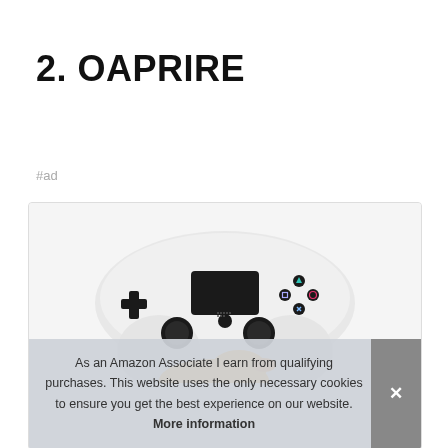2. OAPRIRE
#ad
[Figure (photo): White PlayStation 4 DualShock controller resting on an orange rubber duck, photographed against a white background. Partially overlaid by a cookie consent banner.]
As an Amazon Associate I earn from qualifying purchases. This website uses the only necessary cookies to ensure you get the best experience on our website. More information